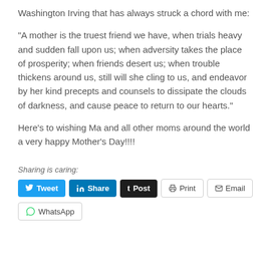Washington Irving that has always struck a chord with me:
“A mother is the truest friend we have, when trials heavy and sudden fall upon us; when adversity takes the place of prosperity; when friends desert us; when trouble thickens around us, still will she cling to us, and endeavor by her kind precepts and counsels to dissipate the clouds of darkness, and cause peace to return to our hearts.”
Here’s to wishing Ma and all other moms around the world a very happy Mother’s Day!!!!
Sharing is caring:
Tweet | Share | Post | Print | Email | WhatsApp